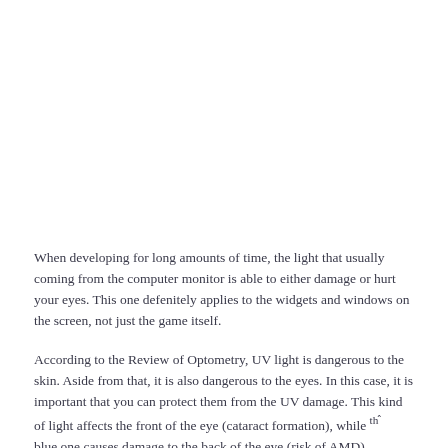When developing for long amounts of time, the light that usually coming from the computer monitor is able to either damage or hurt your eyes. This one defenitely applies to the widgets and windows on the screen, not just the game itself.
According to the Review of Optometry, UV light is dangerous to the skin. Aside from that, it is also dangerous to the eyes. In this case, it is important that you can protect them from the UV damage. This kind of light affects the front of the eye (cataract formation), while the blue one causes damage to the back of the eye (risk of AMD).